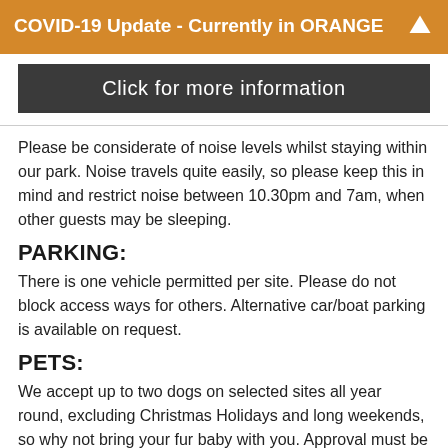COVID-19 Update - Currently in ORANGE
Click for more information
Please be considerate of noise levels whilst staying within our park. Noise travels quite easily, so please keep this in mind and restrict noise between 10.30pm and 7am, when other guests may be sleeping.
PARKING:
There is one vehicle permitted per site. Please do not block access ways for others. Alternative car/boat parking is available on request.
PETS:
We accept up to two dogs on selected sites all year round, excluding Christmas Holidays and long weekends, so why not bring your fur baby with you. Approval must be obtained prior to booking and the final decision is at the managers' discretion. We